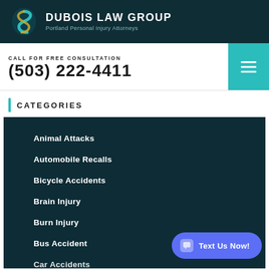DUBOIS LAW GROUP | Portland Personal Injury Attorneys
CALL FOR FREE CONSULTATION
(503) 222-4411
CATEGORIES
Animal Attacks
Automobile Recalls
Bicycle Accidents
Brain Injury
Burn Injury
Bus Accident
Car Accidents